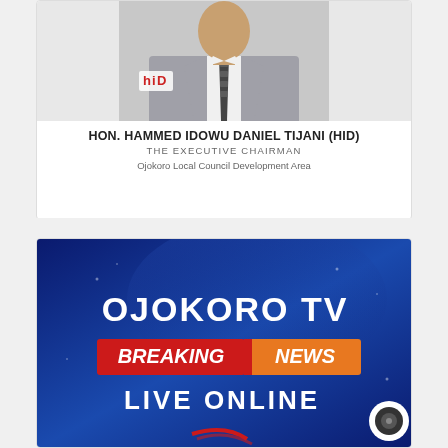[Figure (photo): Portrait photo of Hon. Hammed Idowu Daniel Tijani (HID) in a grey suit with a patterned tie, with HID logo watermark]
HON. HAMMED IDOWU DANIEL TIJANI (HID)
THE EXECUTIVE CHAIRMAN
Ojokoro Local Council Development Area
[Figure (screenshot): Ojokoro TV Breaking News Live Online banner with blue background, red and orange Breaking News banner]